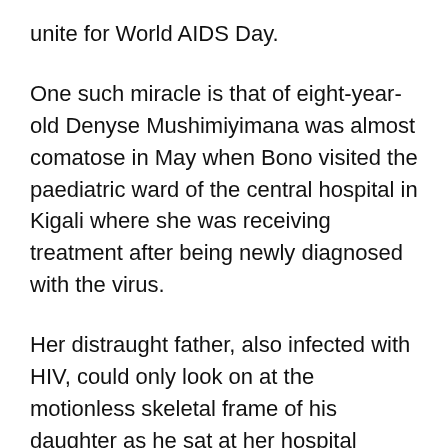unite for World AIDS Day.
One such miracle is that of eight-year-old Denyse Mushimiyimana was almost comatose in May when Bono visited the paediatric ward of the central hospital in Kigali where she was receiving treatment after being newly diagnosed with the virus.
Her distraught father, also infected with HIV, could only look on at the motionless skeletal frame of his daughter as he sat at her hospital bedside. Now Denyse's parents are rejoicing thanks to the 'Lazarus effect' of antiretroviral therapy which has allowed their daughter to return to school and join in the same games and activities that the other children